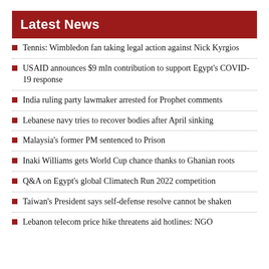Latest News
Tennis: Wimbledon fan taking legal action against Nick Kyrgios
USAID announces $9 mln contribution to support Egypt's COVID-19 response
India ruling party lawmaker arrested for Prophet comments
Lebanese navy tries to recover bodies after April sinking
Malaysia's former PM sentenced to Prison
Inaki Williams gets World Cup chance thanks to Ghanian roots
Q&A on Egypt's global Climatech Run 2022 competition
Taiwan's President says self-defense resolve cannot be shaken
Lebanon telecom price hike threatens aid hotlines: NGO